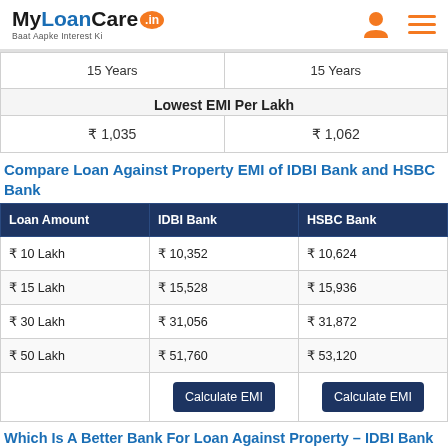MyLoanCare.in - Baat Aapke Interest Ki
| 15 Years | 15 Years |
| Lowest EMI Per Lakh |  |
| ₹ 1,035 | ₹ 1,062 |
Compare Loan Against Property EMI of IDBI Bank and HSBC Bank
| Loan Amount | IDBI Bank | HSBC Bank |
| --- | --- | --- |
| ₹ 10 Lakh | ₹ 10,352 | ₹ 10,624 |
| ₹ 15 Lakh | ₹ 15,528 | ₹ 15,936 |
| ₹ 30 Lakh | ₹ 31,056 | ₹ 31,872 |
| ₹ 50 Lakh | ₹ 51,760 | ₹ 53,120 |
|  | Calculate EMI | Calculate EMI |
Which Is A Better Bank For Loan Against Property – IDBI Bank Or HSBC Bank?